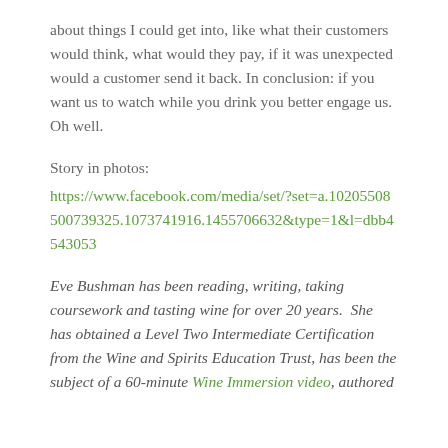about things I could get into, like what their customers would think, what would they pay, if it was unexpected would a customer send it back. In conclusion: if you want us to watch while you drink you better engage us. Oh well.
Story in photos:
https://www.facebook.com/media/set/?set=a.10205508500739325.1073741916.1455706632&type=1&l=dbb4543053
Eve Bushman has been reading, writing, taking coursework and tasting wine for over 20 years. She has obtained a Level Two Intermediate Certification from the Wine and Spirits Education Trust, has been the subject of a 60-minute Wine Immersion video, authored